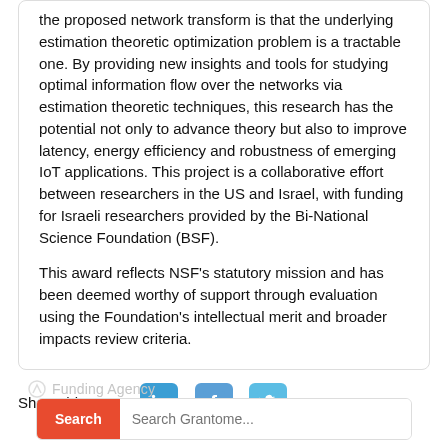the proposed network transform is that the underlying estimation theoretic optimization problem is a tractable one. By providing new insights and tools for studying optimal information flow over the networks via estimation theoretic techniques, this research has the potential not only to advance theory but also to improve latency, energy efficiency and robustness of emerging IoT applications. This project is a collaborative effort between researchers in the US and Israel, with funding for Israeli researchers provided by the Bi-National Science Foundation (BSF).

This award reflects NSF's statutory mission and has been deemed worthy of support through evaluation using the Foundation's intellectual merit and broader impacts review criteria.
Share this grant:
Search Grantome...